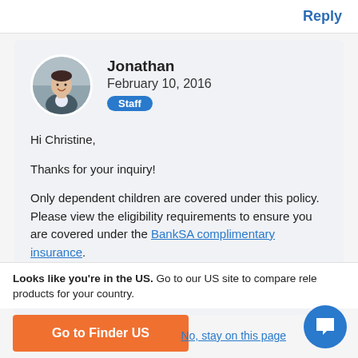Reply
[Figure (photo): Circular avatar photo of Jonathan, a man in a suit smiling]
Jonathan
February 10, 2016
Staff
Hi Christine,
Thanks for your inquiry!
Only dependent children are covered under this policy. Please view the eligibility requirements to ensure you are covered under the BankSA complimentary insurance.
You can also compare travel insurance policies for
Looks like you're in the US. Go to our US site to compare rele products for your country.
Go to Finder US
No, stay on this page